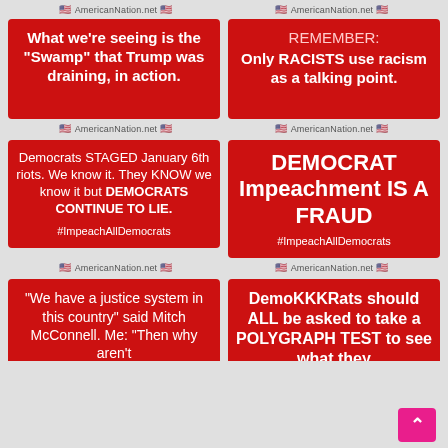🇺🇸 AmericanNation.net 🇺🇸   🇺🇸 AmericanNation.net 🇺🇸
[Figure (infographic): Red background meme: What we're seeing is the "Swamp" that Trump was draining, in action.]
[Figure (infographic): Red background meme: REMEMBER: Only RACISTS use racism as a talking point.]
🇺🇸 AmericanNation.net 🇺🇸
🇺🇸 AmericanNation.net 🇺🇸
[Figure (infographic): Red background meme: Democrats STAGED January 6th riots. We know it. They KNOW we know it but DEMOCRATS CONTINUE TO LIE. #ImpeachAllDemocrats]
[Figure (infographic): Red background meme: DEMOCRAT Impeachment IS A FRAUD #ImpeachAllDemocrats]
🇺🇸 AmericanNation.net 🇺🇸
🇺🇸 AmericanNation.net 🇺🇸
[Figure (infographic): Red background meme: "We have a justice system in this country" said Mitch McConnell. Me: "Then why aren't]
[Figure (infographic): Red background meme: DemoKKKRats should ALL be asked to take a POLYGRAPH TEST to see what they]